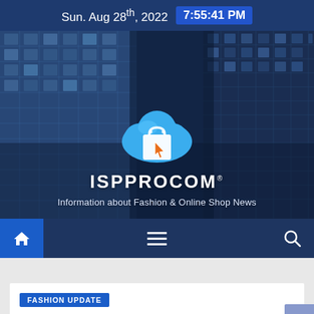Sun. Aug 28th, 2022  7:55:41 PM
[Figure (screenshot): ISPPROCOM website hero banner with blue cloud shopping bag logo, title ISPPROCOM, and tagline 'Information about Fashion & Online Shop News' over a dark blue building background]
ISPPROCOM
Information about Fashion & Online Shop News
[Figure (infographic): Navigation bar with home icon (blue square), hamburger menu icon, and search icon on dark blue background]
FASHION UPDATE